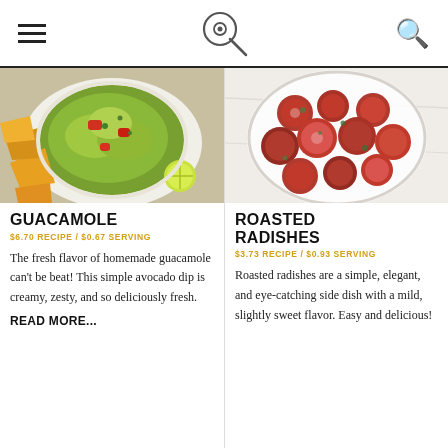Navigation header with hamburger menu, logo (frying pan icon), and search icon
[Figure (photo): Bowl of fresh homemade guacamole with tortilla chips and lime, viewed from above]
GUACAMOLE
$6.70 RECIPE / $0.67 SERVING
The fresh flavor of homemade guacamole can't be beat! This simple avocado dip is creamy, zesty, and so deliciously fresh.
READ MORE...
[Figure (photo): Bowl of roasted radishes viewed from above on white marble background]
ROASTED RADISHES
$3.73 RECIPE / $0.93 SERVING
Roasted radishes are a simple, elegant, and eye-catching side dish with a mild, slightly sweet flavor. Easy and delicious!